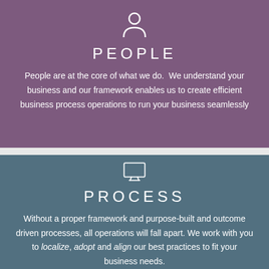[Figure (illustration): White person/user silhouette icon on purple background]
PEOPLE
People are at the core of what we do. We understand your business and our framework enables us to create efficient business process operations to run your business seamlessly
[Figure (illustration): White monitor/computer screen icon on teal background]
PROCESS
Without a proper framework and purpose-built and outcome driven processes, all operations will fall apart. We work with you to localize, adopt and align our best practices to fit your business needs.